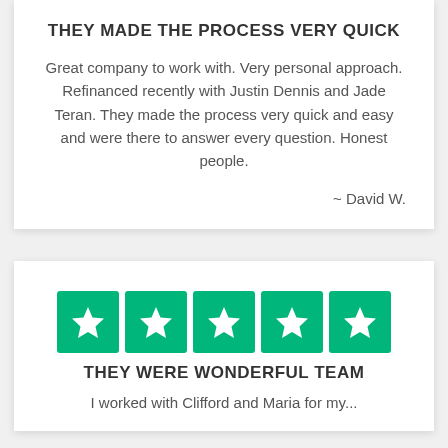THEY MADE THE PROCESS VERY QUICK
Great company to work with. Very personal approach. Refinanced recently with Justin Dennis and Jade Teran. They made the process very quick and easy and were there to answer every question. Honest people.
~ David W.
[Figure (other): Five green Trustpilot star rating boxes arranged in a row]
THEY WERE WONDERFUL TEAM
I worked with Clifford and Maria for my...